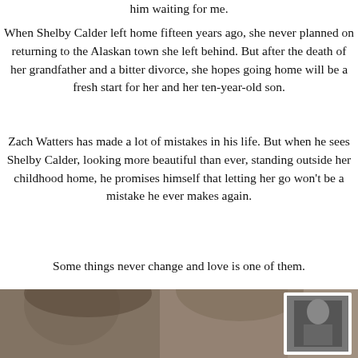him waiting for me.
When Shelby Calder left home fifteen years ago, she never planned on returning to the Alaskan town she left behind. But after the death of her grandfather and a bitter divorce, she hopes going home will be a fresh start for her and her ten-year-old son.
Zach Watters has made a lot of mistakes in his life. But when he sees Shelby Calder, looking more beautiful than ever, standing outside her childhood home, he promises himself that letting her go won't be a mistake he ever makes again.
Some things never change and love is one of them.
[Figure (photo): Black and white / sepia photo of a man and a woman close together, with a framed photograph visible on the right side]